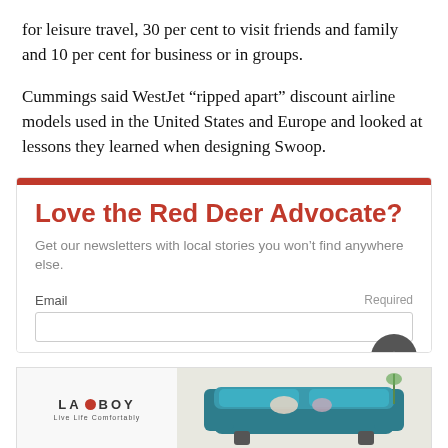for leisure travel, 30 per cent to visit friends and family and 10 per cent for business or in groups.
Cummings said WestJet “ripped apart” discount airline models used in the United States and Europe and looked at lessons they learned when designing Swoop.
[Figure (other): Newsletter signup widget for Red Deer Advocate with title 'Love the Red Deer Advocate?', subtitle 'Get our newsletters with local stories you won’t find anywhere else.', and an email input field labeled 'Email' with 'Required' on the right.]
[Figure (other): La-Z-Boy advertisement banner showing a teal sofa with decorative pillows and the La-Z-Boy logo with tagline 'Live Life Comfortably'.]